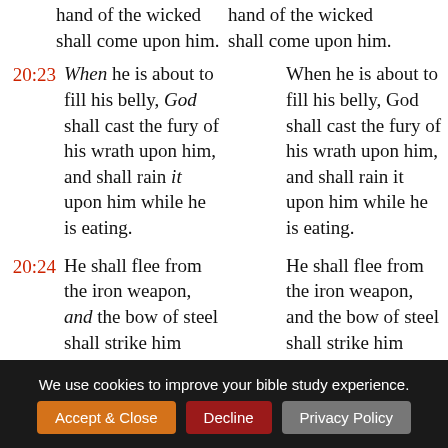hand of the wicked shall come upon him.
hand of the wicked shall come upon him.
20:23 When he is about to fill his belly, God shall cast the fury of his wrath upon him, and shall rain it upon him while he is eating.
When he is about to fill his belly, God shall cast the fury of his wrath upon him, and shall rain it upon him while he is eating.
20:24 He shall flee from the iron weapon, and the bow of steel shall strike him through.
He shall flee from the iron weapon, and the bow of steel shall strike him through.
20:25 It is drawn, and
It is drawn, and
We use cookies to improve your bible study experience.